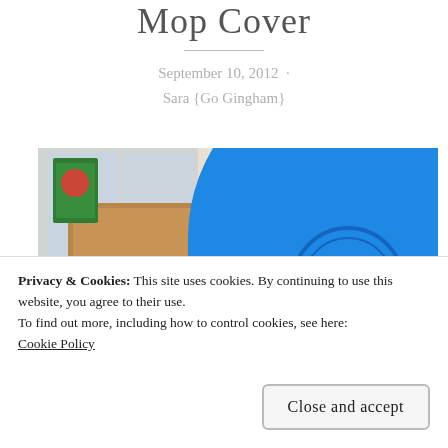Mop Cover
September 10, 2012  ·  Sara {Go Gingham}
[Figure (photo): Close-up photo of a blue cast iron skillet or pan and a wooden cutting board on a kitchen counter, with some items in the background.]
Privacy & Cookies: This site uses cookies. By continuing to use this website, you agree to their use.
To find out more, including how to control cookies, see here:
Cookie Policy
Close and accept